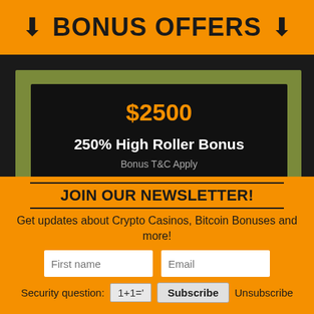BONUS OFFERS
$2500
250% High Roller Bonus
Bonus T&C Apply
GET BONUS
X
JOIN OUR NEWSLETTER!
Get updates about Crypto Casinos, Bitcoin Bonuses and more!
First name
Email
Security question: 1+1=' Subscribe Unsubscribe